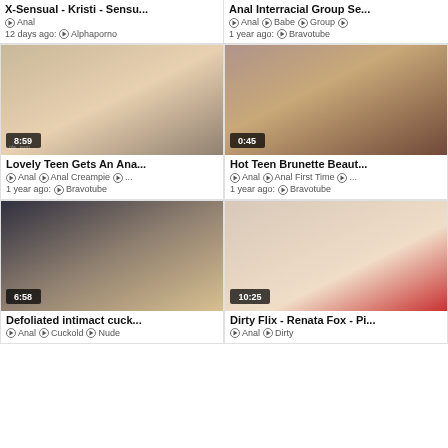X-Sensual - Kristi - Sensu... | Anal Interracial Group Se...
Anal | Anal Babe Group ...
12 days ago: Alphaporno | 1 year ago: Bravotube
[Figure (photo): Video thumbnail 8:59 - Lovely Teen Gets An Ana...]
[Figure (photo): Video thumbnail 0:45 - Hot Teen Brunette Beaut...]
Lovely Teen Gets An Ana...
Anal  Anal Creampie  ...
1 year ago: Bravotube
Hot Teen Brunette Beaut...
Anal  Anal First Time  ...
1 year ago: Bravotube
[Figure (photo): Video thumbnail 6:58 - Defoliated intimact cuck...]
[Figure (photo): Video thumbnail 10:25 - Dirty Flix - Renata Fox - Pi...]
Defoliated intimact cuck...
Anal  Cuckold  Nude
Dirty Flix - Renata Fox - Pi...
Anal  Dirty